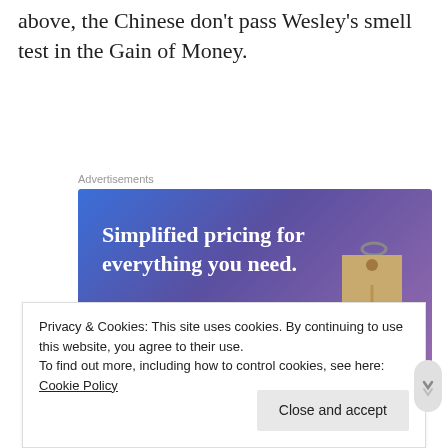above, the Chinese don't pass Wesley's smell test in the Gain of Money.
[Figure (illustration): Advertisement banner with blue-to-purple gradient background. Text reads 'Simplified pricing for everything you need.' with a pink 'Build Your Website' button and a tan price tag graphic on the right.]
Privacy & Cookies: This site uses cookies. By continuing to use this website, you agree to their use.
To find out more, including how to control cookies, see here: Cookie Policy